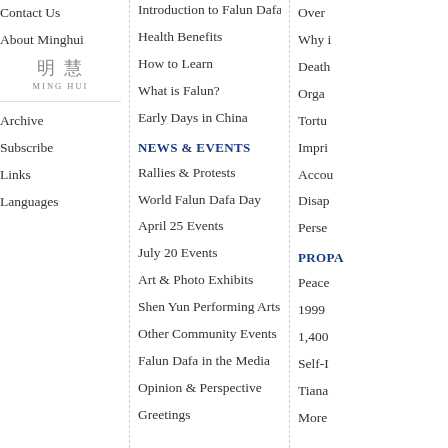Contact Us
About Minghui
[Figure (logo): Ming Hui logo with Chinese characters 明慧 and text MING HUI]
Archive
Subscribe
Links
Languages
Introduction to Falun Dafa
Health Benefits
How to Learn
What is Falun?
Early Days in China
NEWS & EVENTS
Rallies & Protests
World Falun Dafa Day
April 25 Events
July 20 Events
Art & Photo Exhibits
Shen Yun Performing Arts
Other Community Events
Falun Dafa in the Media
Opinion & Perspective
Greetings
Over...
Why i...
Death...
Organ...
Tortu...
Impri...
Accou...
Disap...
Perse...
PROPA...
Peace...1999
1,400...
Self-I... Tiana...
More...